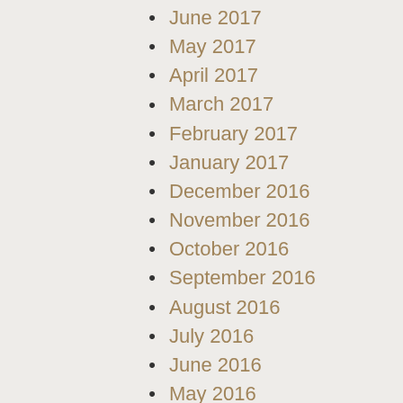June 2017
May 2017
April 2017
March 2017
February 2017
January 2017
December 2016
November 2016
October 2016
September 2016
August 2016
July 2016
June 2016
May 2016
April 2016
May 2014
April 2014
March 2014
February 2014